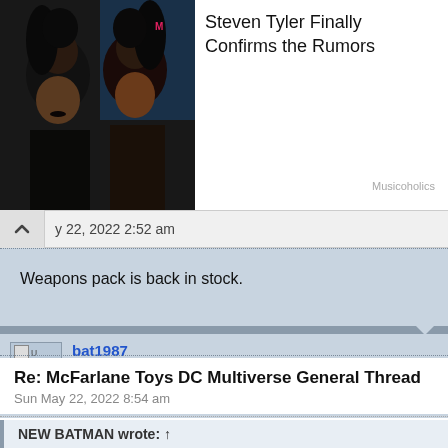[Figure (photo): Two men with long dark hair on a red carpet, one with a mustache, against a blue/teal background]
Steven Tyler Finally Confirms the Rumors
Musicoholics
y 22, 2022 2:52 am
Weapons pack is back in stock.
bat1987
Runs Around in Tights
Re: McFarlane Toys DC Multiverse General Thread
Sun May 22, 2022 8:54 am
NEW BATMAN wrote: ↑